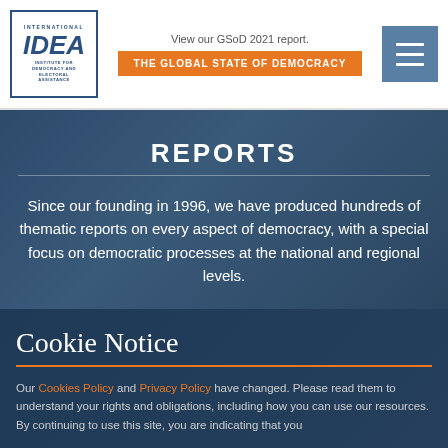View our GSoD 2021 report. THE GLOBAL STATE OF DEMOCRACY
REPORTS
Since our founding in 1996, we have produced hundreds of thematic reports on every aspect of democracy, with a special focus on democratic processes at the national and regional levels.
Cookie Notice
Our Cookies Policy and Privacy Policy have changed. Please read them to understand your rights and obligations, including how you can use our resources. By continuing to use this site, you are indicating that you